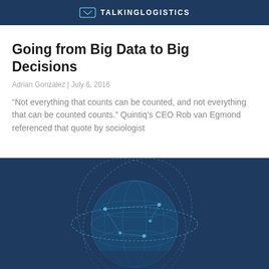TALKINGLOGISTICS
Going from Big Data to Big Decisions
Adrian Gonzalez | July 6, 2016
“Not everything that counts can be counted, and not everything that can be counted counts.” Quintiq’s CEO Rob van Egmond referenced that quote by sociologist
[Figure (illustration): Dark blue globe with orbital rings and network connection lines, representing global logistics data connectivity]